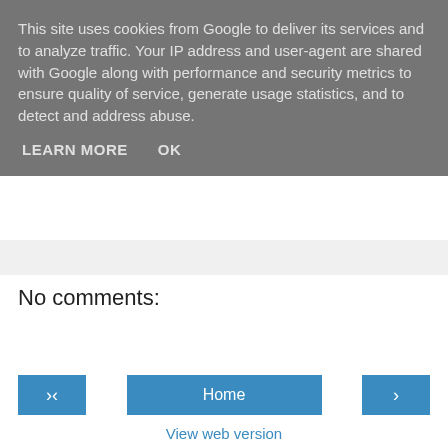This site uses cookies from Google to deliver its services and to analyze traffic. Your IP address and user-agent are shared with Google along with performance and security metrics to ensure quality of service, generate usage statistics, and to detect and address abuse.
LEARN MORE   OK
No comments:
Post a Comment
‹
Home
›
View web version
Powered by Blogger.
Contributors